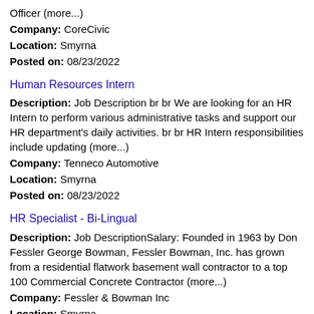Officer (more...)
Company: CoreCivic
Location: Smyrna
Posted on: 08/23/2022
Human Resources Intern
Description: Job Description br br We are looking for an HR Intern to perform various administrative tasks and support our HR department's daily activities. br br HR Intern responsibilities include updating (more...)
Company: Tenneco Automotive
Location: Smyrna
Posted on: 08/23/2022
HR Specialist - Bi-Lingual
Description: Job DescriptionSalary: Founded in 1963 by Don Fessler George Bowman, Fessler Bowman, Inc. has grown from a residential flatwork basement wall contractor to a top 100 Commercial Concrete Contractor (more...)
Company: Fessler & Bowman Inc
Location: Smyrna
Posted on: 08/23/2022